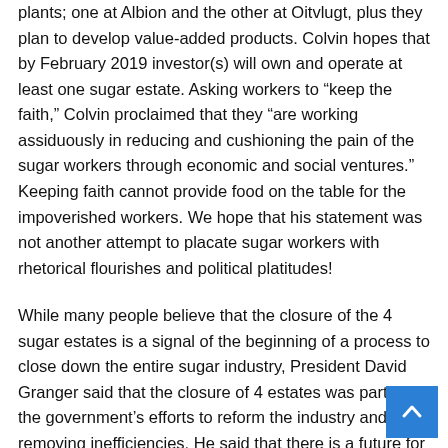plants; one at Albion and the other at Oitvlugt, plus they plan to develop value-added products. Colvin hopes that by February 2019 investor(s) will own and operate at least one sugar estate. Asking workers to “keep the faith,” Colvin proclaimed that they “are working assiduously in reducing and cushioning the pain of the sugar workers through economic and social ventures.” Keeping faith cannot provide food on the table for the impoverished workers. We hope that his statement was not another attempt to placate sugar workers with rhetorical flourishes and political platitudes!
While many people believe that the closure of the 4 sugar estates is a signal of the beginning of a process to close down the entire sugar industry, President David Granger said that the closure of 4 estates was part of the government’s efforts to reform the industry and removing inefficiencies. He said that there is a future for the sugar industry and that with the rationalization of operations at the larger factories (Albion,